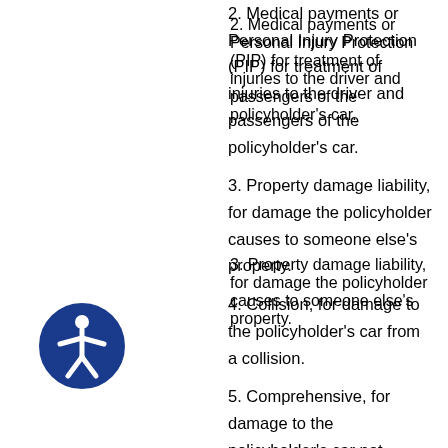2. Medical payments or Personal Injury Protection (PIP) for treatment of injuries to the driver and passengers of the policyholder's car.
3. Property damage liability, for damage the policyholder causes to someone else's property.
4. Collision, for damage to the policyholder's car from a collision.
5. Comprehensive, for damage to the policyholder's car not involving a collision with another car (including damage from fire, explosions, earthquakes, floods, and riots), and theft.
[Figure (illustration): Accessibility icon: a blue circle with a white figure of a person with arms outstretched]
6. Uninsured motorists coverage, for costs resulting from an accident involving a hit-and-run driver or a driver who does not have